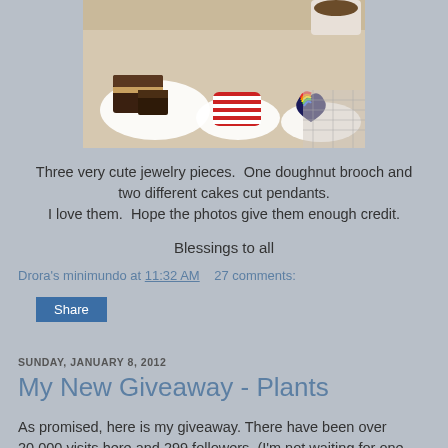[Figure (photo): Photo of desserts on plates on a table: chocolate cake slices on a white plate, a red and white striped item on a plate, and a rainbow decorated item on a plate, with a cup visible at top.]
Three very cute jewelry pieces.  One doughnut brooch and two different cakes cut pendants.
I love them.  Hope the photos give them enough credit.
Blessings to all
Drora's minimundo at 11:32 AM    27 comments:
Share
SUNDAY, JANUARY 8, 2012
My New Giveaway - Plants
As promised, here is my giveaway. There have been over 20,000 visits here and 299 followers. (I'm not waiting for one